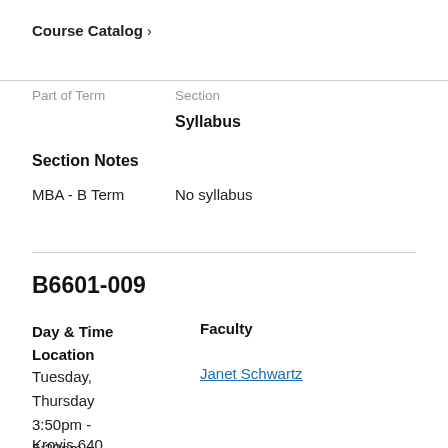Course Catalog >
Part of Term   Section
Syllabus
Section Notes
MBA - B Term   No syllabus
B6601-009
Day & Time   Faculty   Location
Tuesday, Thursday 3:50pm - 5:20pm   Janet Schwartz
Krovis 640